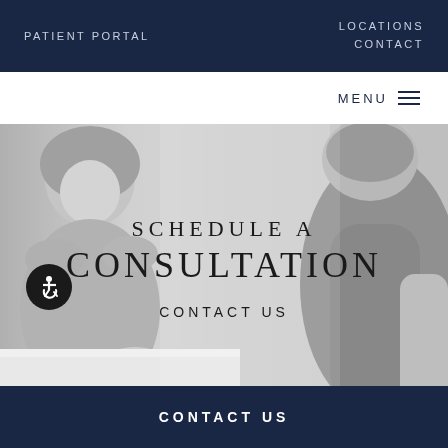PATIENT PORTAL
LOCATIONS
CONTACT
MENU
[Figure (photo): Grayscale photo of two women at a consultation desk, one facing the camera and one with back turned]
SCHEDULE A CONSULTATION
CONTACT US
CONTACT US